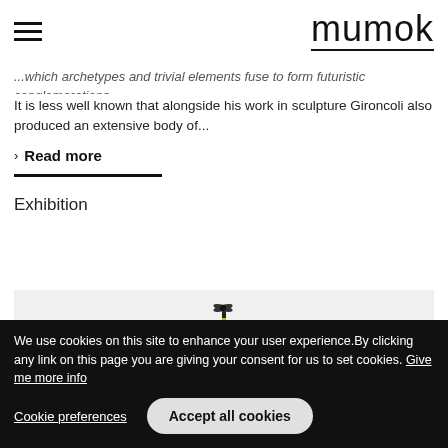mumok
...which archetypes and trivial elements fuse to form futuristic conglomerations. It is less well known that alongside his work in sculpture Gironcoli also produced an extensive body of...
Read more
Exhibition
[Figure (photo): A sculpture on a light grey background — a yellow elongated tapered form topped with a dark bird-like or propeller-like element]
We use cookies on this site to enhance your user experience. By clicking any link on this page you are giving your consent for us to set cookies. Give me more info
Cookie preferences
Accept all cookies